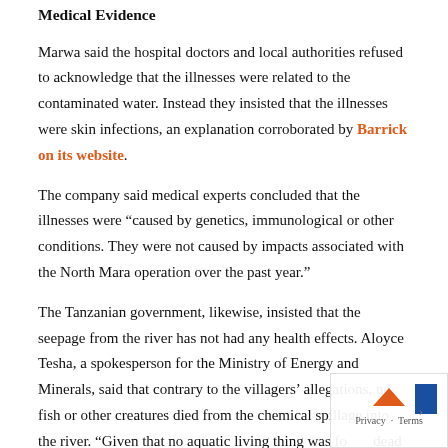Medical Evidence
Marwa said the hospital doctors and local authorities refused to acknowledge that the illnesses were related to the contaminated water. Instead they insisted that the illnesses were skin infections, an explanation corroborated by Barrick on its website.
The company said medical experts concluded that the illnesses were “caused by genetics, immunological or other conditions. They were not caused by impacts associated with the North Mara operation over the past year.”
The Tanzanian government, likewise, insisted that the seepage from the river has not had any health effects. Aloyce Tesha, a spokesperson for the Ministry of Energy and Minerals, said that contrary to the villagers’ allegations, no fish or other creatures died from the chemical spillage into the river. “Given that no aquatic living thing was found dead following the incident; it becomes difficult to attribute claims of diseases and illnesses of people around the river as being caused by